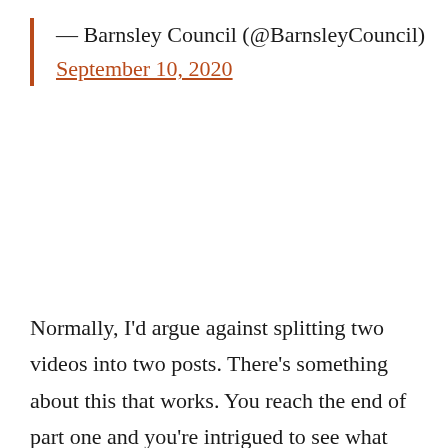— Barnsley Council (@BarnsleyCouncil) September 10, 2020
Normally, I'd argue against splitting two videos into two posts. There's something about this that works. You reach the end of part one and you're intrigued to see what happens next. The pal the narrator is talking about isn't there. What's happened? Is he dead? Is he living his life? It makes you keep